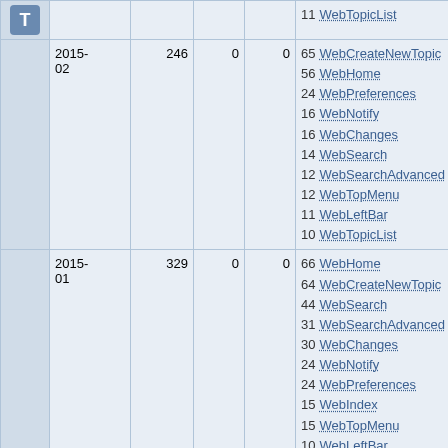|  | Date | Views | Saves | Edits | Top Pages |
| --- | --- | --- | --- | --- | --- |
| T | (partial top) |  |  | 11 WebTopicList |  |
|  | 2015-02 | 246 | 0 | 0 | 65 WebCreateNewTopic
56 WebHome
24 WebPreferences
16 WebNotify
16 WebChanges
14 WebSearch
12 WebSearchAdvanced
12 WebTopMenu
11 WebLeftBar
10 WebTopicList |
|  | 2015-01 | 329 | 0 | 0 | 66 WebHome
64 WebCreateNewTopic
44 WebSearch
31 WebSearchAdvanced
30 WebChanges
24 WebNotify
24 WebPreferences
15 WebIndex
15 WebTopMenu
10 WebLeftBar |